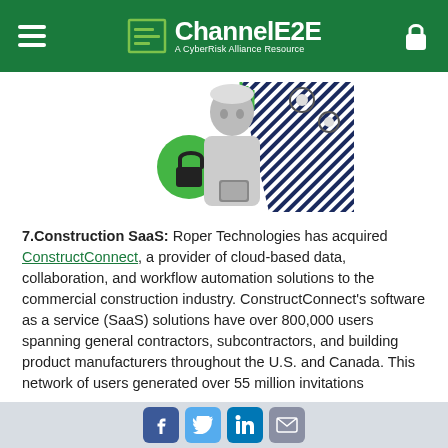ChannelE2E — A CyberRisk Alliance Resource
[Figure (illustration): Woman in white shirt looking at phone, surrounded by digital security icons including a padlock in a green circle, gear icons, and striped triangular background elements. Black and white photo with green accent.]
7.Construction SaaS: Roper Technologies has acquired ConstructConnect, a provider of cloud-based data, collaboration, and workflow automation solutions to the commercial construction industry. ConstructConnect's software as a service (SaaS) solutions have over 800,000 users spanning general contractors, subcontractors, and building product manufacturers throughout the U.S. and Canada. This network of users generated over 55 million invitations
Facebook Twitter LinkedIn Email — social share icons